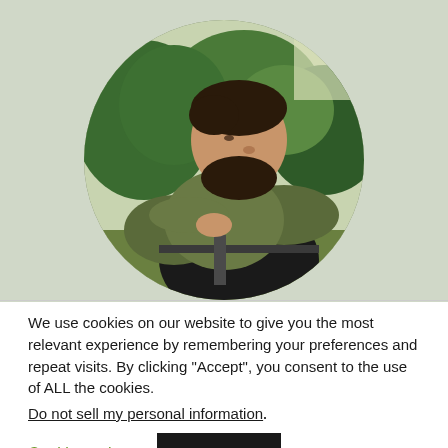[Figure (photo): A bearded man in olive/camouflage military jacket and black tactical vest, sitting outdoors with green shrubs in the background. The image is cropped in a circle.]
We use cookies on our website to give you the most relevant experience by remembering your preferences and repeat visits. By clicking “Accept”, you consent to the use of ALL the cookies.
Do not sell my personal information.
Cookie settings
ACCEPT